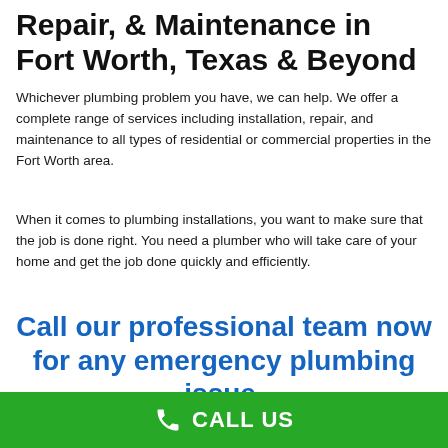Repair, & Maintenance in Fort Worth, Texas & Beyond
Whichever plumbing problem you have, we can help. We offer a complete range of services including installation, repair, and maintenance to all types of residential or commercial properties in the Fort Worth area.
When it comes to plumbing installations, you want to make sure that the job is done right. You need a plumber who will take care of your home and get the job done quickly and efficiently.
Call our professional team now for any emergency plumbing issue.
Call (877) 959-6069
CALL US